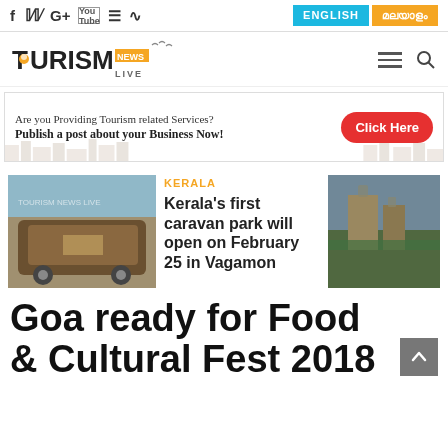Tourism News Live - social icons, language selector (ENGLISH, മലയാളം)
[Figure (logo): Tourism News Live logo with orange pin icon and bird silhouettes]
[Figure (infographic): Advertisement banner: Are you Providing Tourism related Services? Publish a post about your Business Now! Click Here button]
[Figure (photo): Kerala caravan bus photo (left thumbnail)]
KERALA
Kerala's first caravan park will open on February 25 in Vagamon
[Figure (photo): Construction/building photo (right thumbnail)]
Goa ready for Food & Cultural Fest 2018